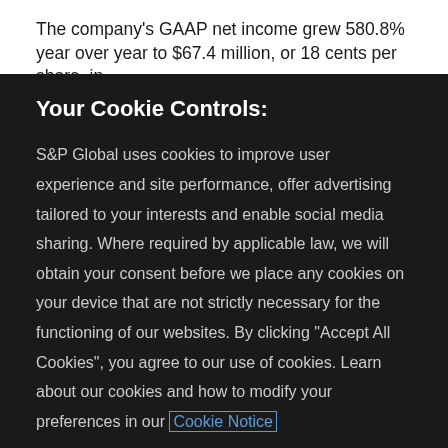The company's GAAP net income grew 580.8% year over year to $67.4 million, or 18 cents per share, in
Your Cookie Controls:
S&P Global uses cookies to improve user experience and site performance, offer advertising tailored to your interests and enable social media sharing. Where required by applicable law, we will obtain your consent before we place any cookies on your device that are not strictly necessary for the functioning of our websites. By clicking "Accept All Cookies", you agree to our use of cookies. Learn about our cookies and how to modify your preferences in our Cookie Notice